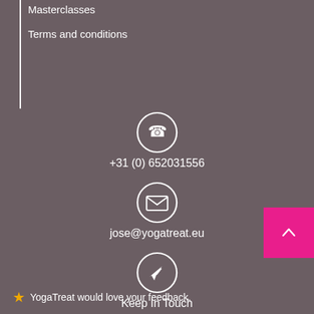Masterclasses
Terms and conditions
[Figure (illustration): Phone icon in a white circle]
+31 (0) 652031556
[Figure (illustration): Email/envelope icon in a white circle]
jose@yogatreat.eu
[Figure (illustration): Paper plane/send icon in a white circle]
Keep In Touch
⭐ YogaTreat would love your feedback.